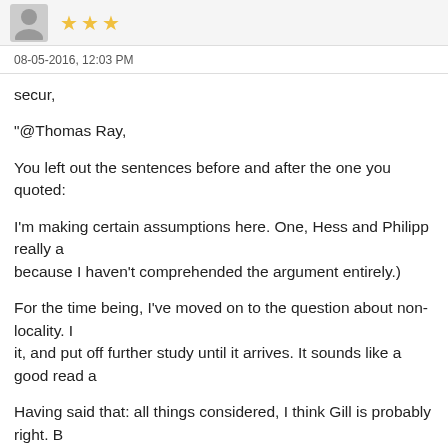[Figure (other): User avatar placeholder (grey silhouette) with 3 yellow star rating]
08-05-2016, 12:03 PM
secur,

"@Thomas Ray,

You left out the sentences before and after the one you quoted:

I'm making certain assumptions here. One, Hess and Philipp really a... because I haven't comprehended the argument entirely.)

For the time being, I've moved on to the question about non-locality. I... it, and put off further study until it arrives. It sounds like a good read a...

Having said that: all things considered, I think Gill is probably right. B... between Hess and Christian. Christian's paper is simple enough that... knowledge. Anyway, in a week or two I hope to get back to Hess & Ph... his mistake.

In a sane world I wouldn't have to work so hard! If the physics establi... simply accept the expert opinion. But in this "insane" world, the bigge...